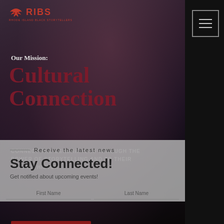[Figure (photo): Background photo of an elderly Black man performing/speaking at a microphone, wearing a pink/magenta garment and blue head covering, overlaid with dark gradient]
RIBS - Rhode Island Black Storytellers logo with eagle icon
Our Mission:
Cultural Connection
CONNECT THE GENERATIONS THROUGH THE POWER OF STORYTELLING AND TO THEIR SHARED HISTORY
— Receive the latest news
Stay Connected!
Get notified about upcoming events!
First Name | Last Name